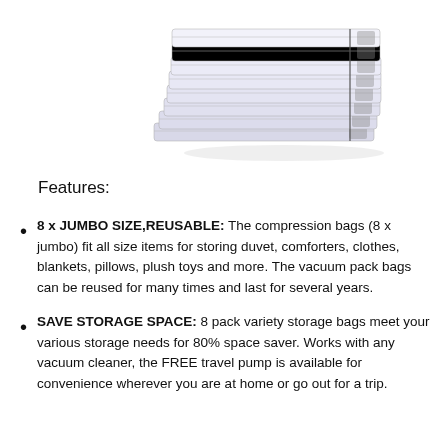[Figure (photo): Stack of flat vacuum compression storage bags with zipper seals, viewed from a slight angle, white/grey color.]
Features:
8 x JUMBO SIZE,REUSABLE: The compression bags (8 x jumbo) fit all size items for storing duvet, comforters, clothes, blankets, pillows, plush toys and more. The vacuum pack bags can be reused for many times and last for several years.
SAVE STORAGE SPACE: 8 pack variety storage bags meet your various storage needs for 80% space saver. Works with any vacuum cleaner, the FREE travel pump is available for convenience wherever you are at home or go out for a trip.